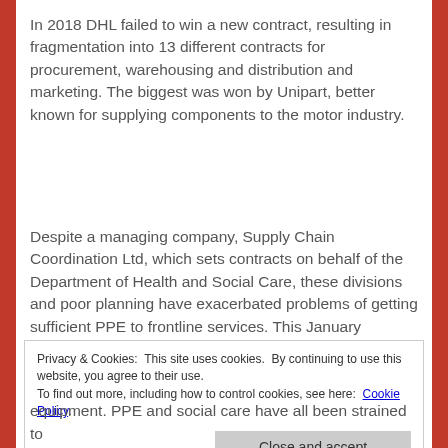In 2018 DHL failed to win a new contract, resulting in fragmentation into 13 different contracts for procurement, warehousing and distribution and marketing. The biggest was won by Unipart, better known for supplying components to the motor industry.
Despite a managing company, Supply Chain Coordination Ltd, which sets contracts on behalf of the Department of Health and Social Care, these divisions and poor planning have exacerbated problems of getting sufficient PPE to frontline services. This January management started reducing stock levels – right at the time that Covid-19 was
Privacy & Cookies: This site uses cookies. By continuing to use this website, you agree to their use.
To find out more, including how to control cookies, see here: Cookie Policy
equipment. PPE and social care have all been strained to